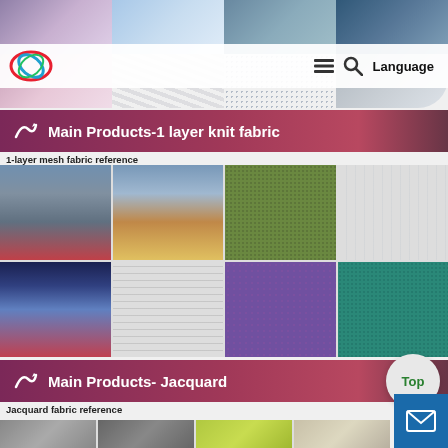[Figure (screenshot): Website screenshot showing a fabric manufacturer's product page with logo, navigation bar with Language option, and grid of fabric images]
Main Products-1 layer knit fabric
1-layer mesh fabric reference
[Figure (photo): Grid of 8 fabric photos showing 1-layer mesh and knit fabrics in various colors including blue, gray, olive, purple, teal]
Main Products- Jacquard
Jacquard fabric reference
[Figure (photo): Partial grid of jacquard fabric photos at bottom of page]